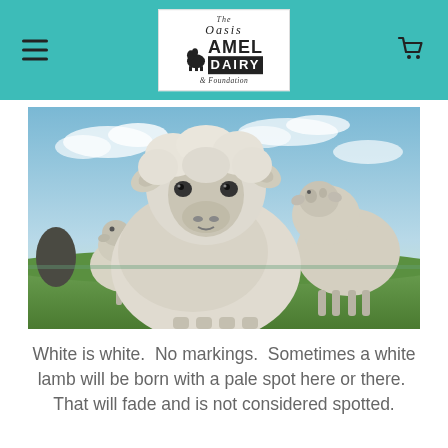The Oasis Camel Dairy & Foundation
[Figure (photo): A group of white woolly sheep in an outdoor field under a blue sky with scattered clouds. The closest sheep faces the camera directly, filling much of the frame, with other sheep visible in the background.]
White is white.  No markings.  Sometimes a white lamb will be born with a pale spot here or there.  That will fade and is not considered spotted.